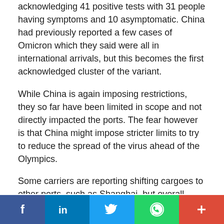acknowledging 41 positive tests with 31 people having symptoms and 10 asymptomatic. China had previously reported a few cases of Omicron which they said were all in international arrivals, but this becomes the first acknowledged cluster of the variant.
While China is again imposing restrictions, they so far have been limited in scope and not directly impacted the ports. The fear however is that China might impose stricter limits to try to reduce the spread of the virus ahead of the Olympics.
Some carriers are reporting shifting cargoes to other ports, such as Shanghai, but overall containers are continuing to move. The next three weeks are considered a critical period before the holiday period. The Port of Los Angeles, for example, last week already reported a new “mini-peak ahead of the lunar new year,” but then there should be a natural lull as factories close for the holidays.
Social share bar: Facebook, LinkedIn, Twitter, WhatsApp, Google+